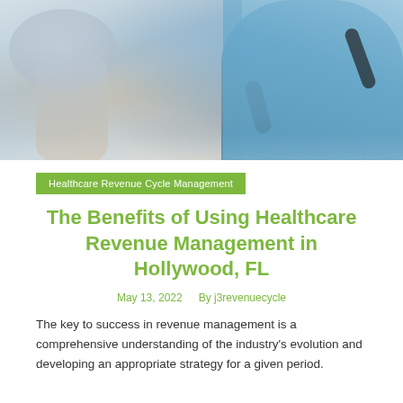[Figure (photo): Blurred photo of a healthcare worker in blue scrubs with a stethoscope, in a medical setting]
Healthcare Revenue Cycle Management
The Benefits of Using Healthcare Revenue Management in Hollywood, FL
May 13, 2022   By j3revenuecycle
The key to success in revenue management is a comprehensive understanding of the industry's evolution and developing an appropriate strategy for a given period.